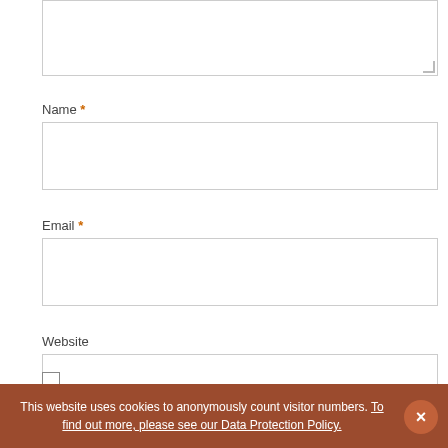[textarea stub at top]
Name *
Email *
Website
Save my name, email, and website in this browser for the next
This website uses cookies to anonymously count visitor numbers. To find out more, please see our Data Protection Policy.